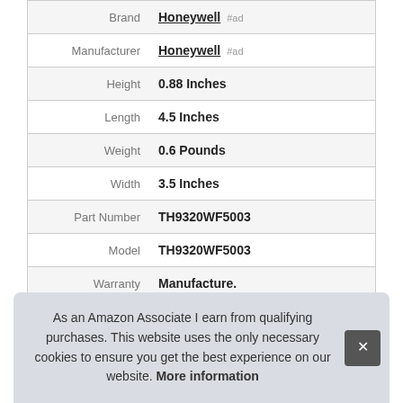| Attribute | Value |
| --- | --- |
| Brand | Honeywell #ad |
| Manufacturer | Honeywell #ad |
| Height | 0.88 Inches |
| Length | 4.5 Inches |
| Weight | 0.6 Pounds |
| Width | 3.5 Inches |
| Part Number | TH9320WF5003 |
| Model | TH9320WF5003 |
| Warranty | Manufacture. |
As an Amazon Associate I earn from qualifying purchases. This website uses the only necessary cookies to ensure you get the best experience on our website. More information